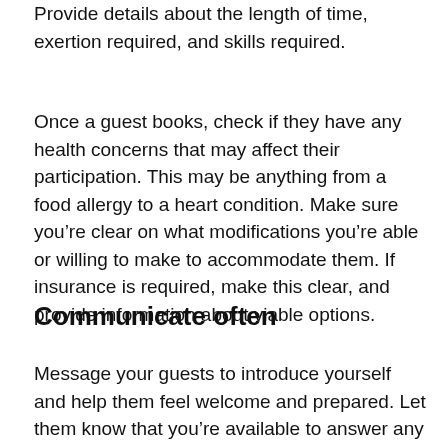Provide details about the length of time, exertion required, and skills required.
Once a guest books, check if they have any health concerns that may affect their participation. This may be anything from a food allergy to a heart condition. Make sure you’re clear on what modifications you’re able or willing to make to accommodate them. If insurance is required, make this clear, and provide information about viable options.
Communicate often
Message your guests to introduce yourself and help them feel welcome and prepared. Let them know that you’re available to answer any questions.